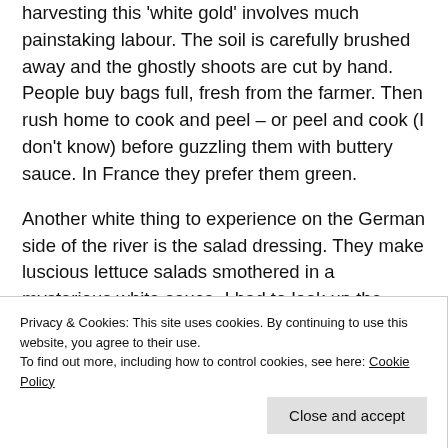harvesting this 'white gold' involves much painstaking labour. The soil is carefully brushed away and the ghostly shoots are cut by hand. People buy bags full, fresh from the farmer. Then rush home to cook and peel – or peel and cook (I don't know) before guzzling them with buttery sauce. In France they prefer them green.
Another white thing to experience on the German side of the river is the salad dressing. They make luscious lettuce salads smothered in a mysterious white sauce. I had to look up the recipe. Ingredients are a blended cream, lemon juice and sugar. French dressing is made from finely chopped shallots, red or white wine vinegar, fine sea salt,
Privacy & Cookies: This site uses cookies. By continuing to use this website, you agree to their use. To find out more, including how to control cookies, see here: Cookie Policy
Close and accept